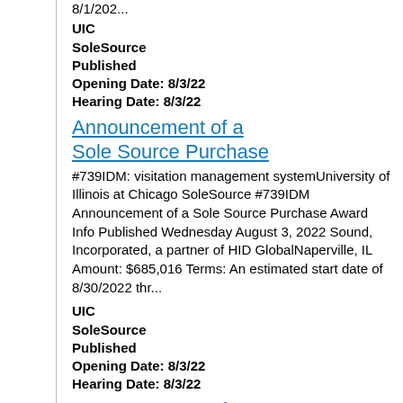8/1/202...
UIC
SoleSource
Published
Opening Date: 8/3/22
Hearing Date: 8/3/22
Announcement of a Sole Source Purchase
#739IDM: visitation management systemUniversity of Illinois at Chicago SoleSource #739IDM Announcement of a Sole Source Purchase Award Info Published Wednesday August 3, 2022 Sound, Incorporated, a partner of HID GlobalNaperville, IL Amount: $685,016 Terms: An estimated start date of 8/30/2022 thr...
UIC
SoleSource
Published
Opening Date: 8/3/22
Hearing Date: 8/3/22
Announcement of a Sole Source Purchase
#700JMG: Image post